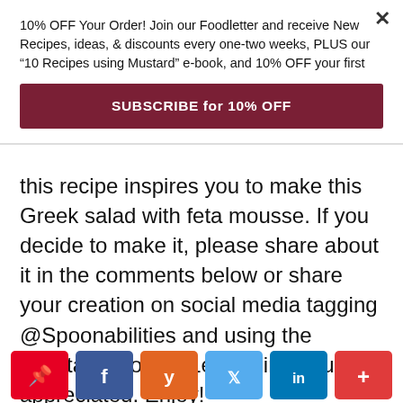10% OFF Your Order! Join our Foodletter and receive New Recipes, ideas, & discounts every one-two weeks, PLUS our “10 Recipes using Mustard” e-book, and 10% OFF your first
SUBSCRIBE for 10% OFF
this recipe inspires you to make this Greek salad with feta mousse. If you decide to make it, please share about it in the comments below or share your creation on social media tagging @Spoonabilities and using the hashtag #NotJarsLeftBehind. Much appreciated. Enjoy!
[Figure (other): Social media share buttons: Pinterest (red), Facebook (blue), Yummly (orange), Twitter (light blue), LinkedIn (dark blue), More (red-orange)]